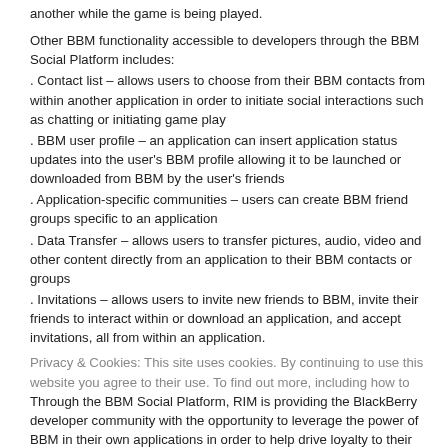another while the game is being played.
Other BBM functionality accessible to developers through the BBM Social Platform includes:
. Contact list – allows users to choose from their BBM contacts from within another application in order to initiate social interactions such as chatting or initiating game play
. BBM user profile – an application can insert application status updates into the user's BBM profile allowing it to be launched or downloaded from BBM by the user's friends
. Application-specific communities – users can create BBM friend groups specific to an application
. Data Transfer – allows users to transfer pictures, audio, video and other content directly from an application to their BBM contacts or groups
. Invitations – allows users to invite new friends to BBM, invite their friends to interact within or download an application, and accept invitations, all from within an application.
Privacy & Cookies: This site uses cookies. By continuing to use this
Through the BBM Social Platform, RIM is providing the BlackBerry developer community with the opportunity to leverage the power of BBM in their own applications in order to help drive loyalty to their applications through social and community interactions, as well as increase discoverability of their applications through peer communications and referrals.
Several BlackBerry Alliance members are already testing the BBM